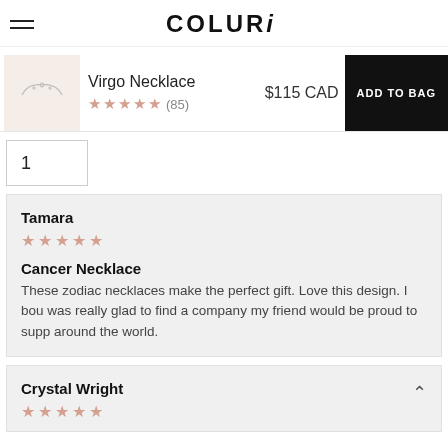COLURi
Virgo Necklace ★★★★★ (85) $115 CAD ADD TO BAG
1
Tamara ★★★★★ Cancer Necklace These zodiac necklaces make the perfect gift. Love this design. I bought this for a friend and was really glad to find a company my friend would be proud to support. Ships from Canada around the world.
Crystal Wright ★★★★★